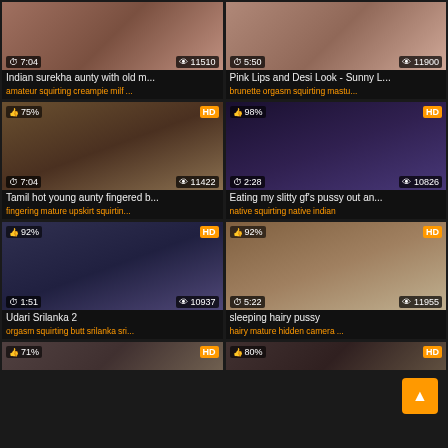[Figure (screenshot): Video thumbnail grid - adult video website with 8 video cards arranged in 2 columns. Row 1: 'Indian surekha aunty with old m...' 7:04 / 11510 views, tags: amateur squirting creampie milf; 'Pink Lips and Desi Look - Sunny L...' 5:50 / 11900 views, tags: brunette orgasm squirting mastu. Row 2: 'Tamil hot young aunty fingered b...' 7:04 / 11422 views 75% HD, tags: fingering mature upskirt squirtin; 'Eating my slitty gf\'s pussy out an...' 2:28 / 10826 views 98% HD, tags: native squirting native indian. Row 3: 'Udari Srilanka 2' 1:51 / 10937 views 92% HD, tags: orgasm squirting butt srilanka sri; sleeping hairy pussy 5:22 / 11955 views 92% HD, tags: hairy mature hidden camera. Row 4: partial thumbnails 71% HD and 80% HD visible.]